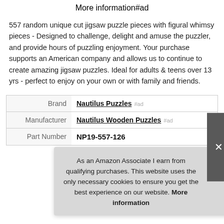More information #ad
557 random unique cut jigsaw puzzle pieces with figural whimsy pieces - Designed to challenge, delight and amuse the puzzler, and provide hours of puzzling enjoyment. Your purchase supports an American company and allows us to continue to create amazing jigsaw puzzles. Ideal for adults & teens over 13 yrs - perfect to enjoy on your own or with family and friends.
| Label | Value |
| --- | --- |
| Brand | Nautilus Puzzles #ad |
| Manufacturer | Nautilus Wooden Puzzles #ad |
| Part Number | NP19-557-126 |
As an Amazon Associate I earn from qualifying purchases. This website uses the only necessary cookies to ensure you get the best experience on our website. More information